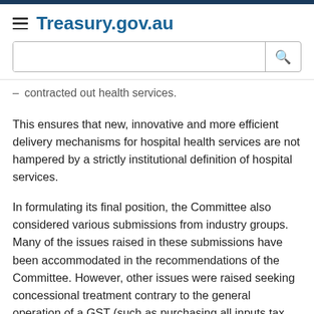Treasury.gov.au
contracted out health services.
This ensures that new, innovative and more efficient delivery mechanisms for hospital health services are not hampered by a strictly institutional definition of hospital services.
In formulating its final position, the Committee also considered various submissions from industry groups. Many of the issues raised in these submissions have been accommodated in the recommendations of the Committee. However, other issues were raised seeking concessional treatment contrary to the general operation of a GST (such as purchasing all inputs tax free, instead of paying tax and subsequently receiving an input credit), and